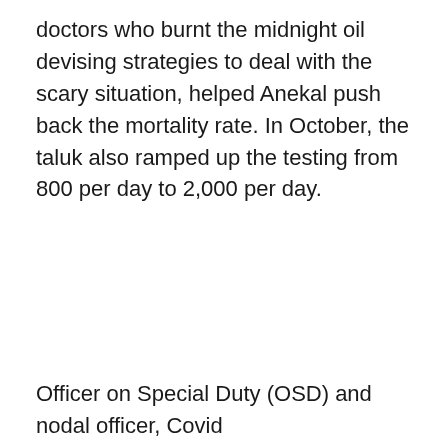doctors who burnt the midnight oil devising strategies to deal with the scary situation, helped Anekal push back the mortality rate. In October, the taluk also ramped up the testing from 800 per day to 2,000 per day.
Officer on Special Duty (OSD) and nodal officer, Covid